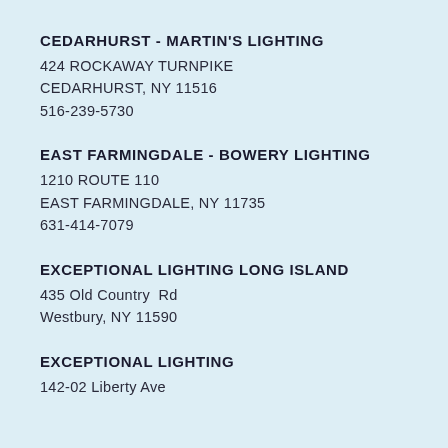CEDARHURST - MARTIN'S LIGHTING
424 ROCKAWAY TURNPIKE
CEDARHURST, NY 11516
516-239-5730
EAST FARMINGDALE - BOWERY LIGHTING
1210 ROUTE 110
EAST FARMINGDALE, NY 11735
631-414-7079
EXCEPTIONAL LIGHTING LONG ISLAND
435 Old Country  Rd
Westbury, NY 11590
EXCEPTIONAL LIGHTING
142-02 Liberty Ave